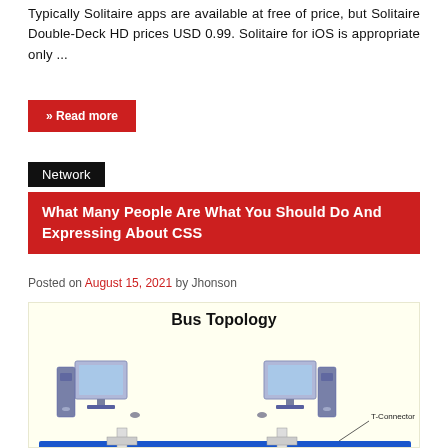Typically Solitaire apps are available at free of price, but Solitaire Double-Deck HD prices USD 0.99. Solitaire for iOS is appropriate only ...
» Read more
Network
What Many People Are What You Should Do And Expressing About CSS
Posted on August 15, 2021 by Jhonson
[Figure (illustration): Bus Topology diagram showing two desktop computers connected via a blue horizontal bus cable with T-Connectors. The illustration has a light yellow background and shows computer monitors, towers, and the network bus with connectors.]